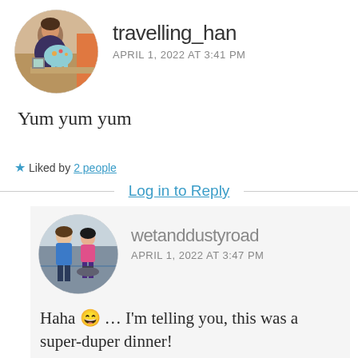[Figure (photo): Circular avatar of travelling_han: a woman with a decorative elephant figurine in a shop setting]
travelling_han
APRIL 1, 2022 AT 3:41 PM
Yum yum yum
★ Liked by 2 people
Log in to Reply
[Figure (photo): Circular avatar of wetanddustyroad: two people in a gym/cycling studio]
wetanddustyroad
APRIL 1, 2022 AT 3:47 PM
Haha 😄 … I'm telling you, this was a super-duper dinner!
★ Like